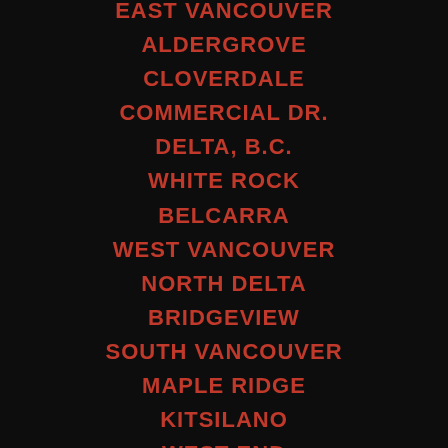EAST VANCOUVER
ALDERGROVE
CLOVERDALE
COMMERCIAL DR.
DELTA, B.C.
WHITE ROCK
BELCARRA
WEST VANCOUVER
NORTH DELTA
BRIDGEVIEW
SOUTH VANCOUVER
MAPLE RIDGE
KITSILANO
WEST END
HORSESHOE BAY
PITT MEADOWS
MISSION
COQUITLAM